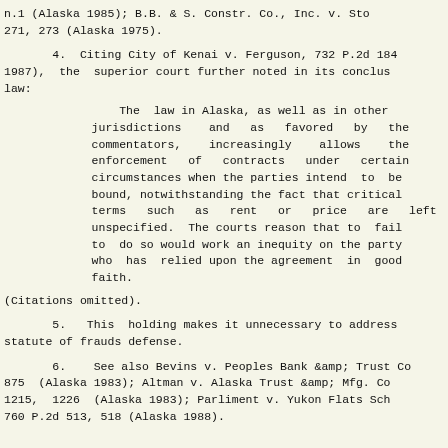n.1 (Alaska 1985); B.B. & S. Constr. Co., Inc. v. Sto 271, 273 (Alaska 1975).
4.  Citing City of Kenai v. Ferguson, 732 P.2d 184 1987), the superior court further noted in its conclus law:

The law in Alaska, as well as in other jurisdictions and as favored by the commentators, increasingly allows the enforcement of contracts under certain circumstances when the parties intend to be bound, notwithstanding the fact that critical terms such as rent or price are left unspecified. The courts reason that to fail to do so would work an inequity on the party who has relied upon the agreement in good faith.

(Citations omitted).
5.  This holding makes it unnecessary to address statute of frauds defense.
6.  See also Bevins v. Peoples Bank & Trust Co 875 (Alaska 1983); Altman v. Alaska Trust & Mfg. Co 1215, 1226 (Alaska 1983); Parliment v. Yukon Flats Sch 760 P.2d 513, 518 (Alaska 1988).